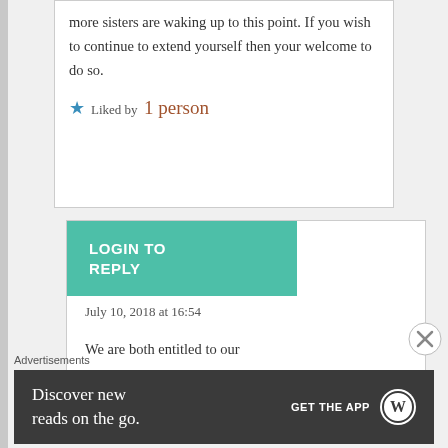more sisters are waking up to this point. If you wish to continue to extend yourself then your welcome to do so.
Liked by 1 person
LOGIN TO REPLY
July 10, 2018 at 16:54
We are both entitled to our
Advertisements
Discover new reads on the go.
GET THE APP